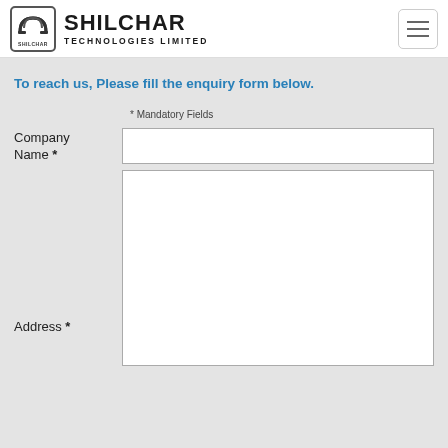SHILCHAR TECHNOLOGIES LIMITED
To reach us, Please fill the enquiry form below.
* Mandatory Fields
Company Name *
Address *